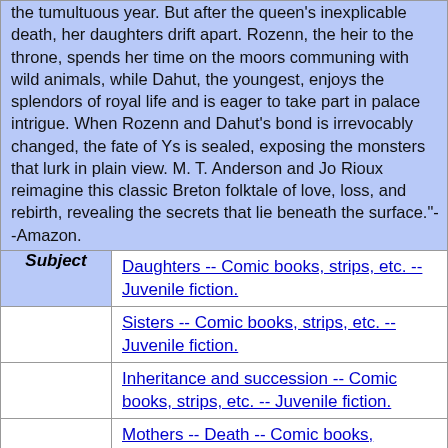| Label | Content |
| --- | --- |
|  | the tumultuous year. But after the queen's inexplicable death, her daughters drift apart. Rozenn, the heir to the throne, spends her time on the moors communing with wild animals, while Dahut, the youngest, enjoys the splendors of royal life and is eager to take part in palace intrigue. When Rozenn and Dahut's bond is irrevocably changed, the fate of Ys is sealed, exposing the monsters that lurk in plain view. M. T. Anderson and Jo Rioux reimagine this classic Breton folktale of love, loss, and rebirth, revealing the secrets that lie beneath the surface."--Amazon. |
| Subject | Daughters -- Comic books, strips, etc. -- Juvenile fiction. |
|  | Sisters -- Comic books, strips, etc. -- Juvenile fiction. |
|  | Inheritance and succession -- Comic books, strips, etc. -- Juvenile fiction. |
|  | Mothers -- Death -- Comic books, |